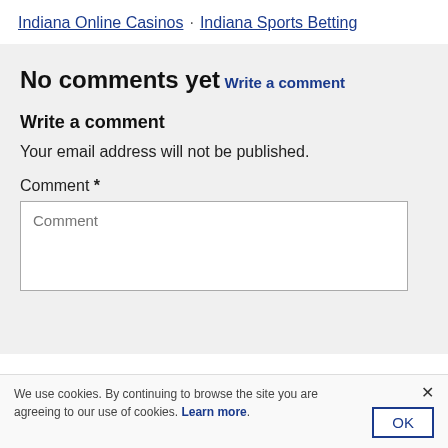Indiana Online Casinos · Indiana Sports Betting
No comments yet
Write a comment
Write a comment
Your email address will not be published.
Comment *
Comment
We use cookies. By continuing to browse the site you are agreeing to our use of cookies. Learn more.